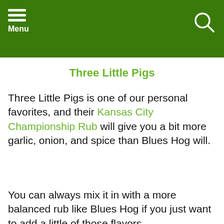Menu
Three Little Pigs
Three Little Pigs is one of our personal favorites, and their Kansas City Championship Rub will give you a bit more garlic, onion, and spice than Blues Hog will.
You can always mix it in with a more balanced rub like Blues Hog if you just want to add a little of those flavors.
[Figure (screenshot): Advertisement banner with a black circular logo, a green checkmark and 'In-store shopping' text, and a blue diamond navigation arrow icon. Below are small play and close button icons.]